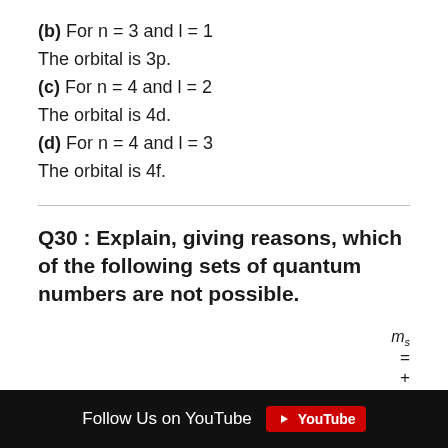(b) For n = 3 and l = 1
The orbital is 3p.
(c) For n = 4 and l = 2
The orbital is 4d.
(d) For n = 4 and l = 3
The orbital is 4f.
Q30 : Explain, giving reasons, which of the following sets of quantum numbers are not possible.
a    n=0    l=0    m_l = 0    m_s = +1/2
b    ...    ...    ...         m_s = -1/2
Follow Us on YouTube